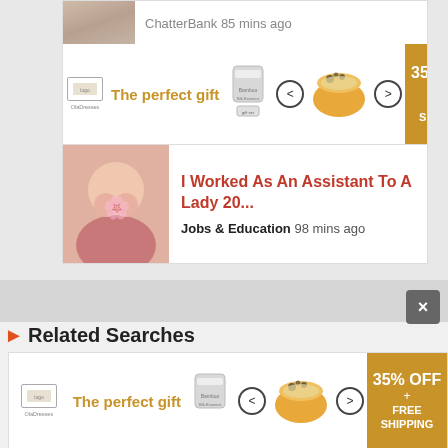ChatterBank 85 mins ago
[Figure (infographic): Advertisement banner: The perfect gift with product jar, navigation arrows, food bowl, 35% OFF + FREE SHIPPING badge]
I Worked As An Assistant To A Lady 20...
Jobs & Education 98 mins ago
×
Related Searches
[Figure (infographic): Advertisement banner bottom: The perfect gift with product jar, navigation arrows, food bowl, 35% OFF + FREE SHIPPING badge]